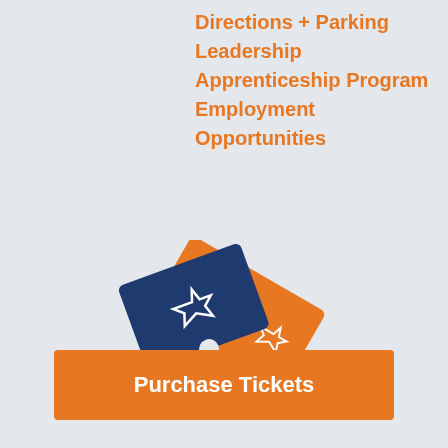Directions + Parking
Leadership
Apprenticeship Program
Employment Opportunities
[Figure (illustration): Two event tickets overlapping — one navy blue with a white star outline and one orange with a white star outline, arranged at slight angles]
Purchase Tickets